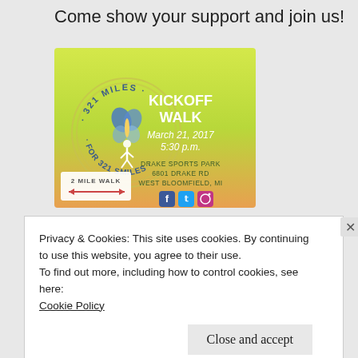Come show your support and join us!
[Figure (illustration): Kickoff Walk event flyer for '321 Miles for 321 Smiles' featuring a circular logo with a butterfly, text: KICKOFF WALK, March 21, 2017, 5:30 p.m., Drake Sports Park, 6801 Drake Rd, West Bloomfield, MI, with Facebook, Twitter, Instagram icons and a 2 Mile Walk indicator.]
Privacy & Cookies: This site uses cookies. By continuing to use this website, you agree to their use.
To find out more, including how to control cookies, see here:
Cookie Policy
Close and accept